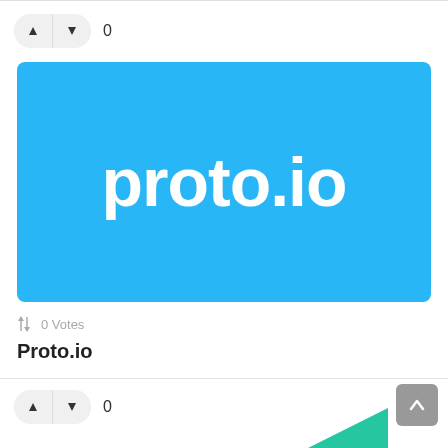[Figure (other): Up and down vote buttons with count 0 at top]
[Figure (logo): proto.io logo — white text on cyan/light blue background]
↑↓ 0 Votes
Proto.io
[Figure (other): Up and down vote buttons with count 0 at bottom]
[Figure (other): Scroll-to-top button (grey arrow up) at bottom right]